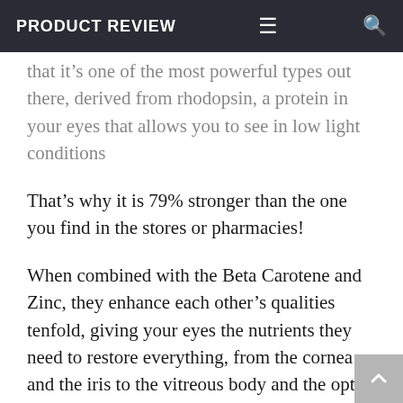PRODUCT REVIEW
that it's one of the most powerful types out there, derived from rhodopsin, a protein in your eyes that allows you to see in low light conditions
That's why it is 79% stronger than the one you find in the stores or pharmacies!
When combined with the Beta Carotene and Zinc, they enhance each other's qualities tenfold, giving your eyes the nutrients they need to restore everything, from the cornea and the iris to the vitreous body and the optic nerve.
We added this with one single purpose in mind: to give you back the 20/20 vision you've been so